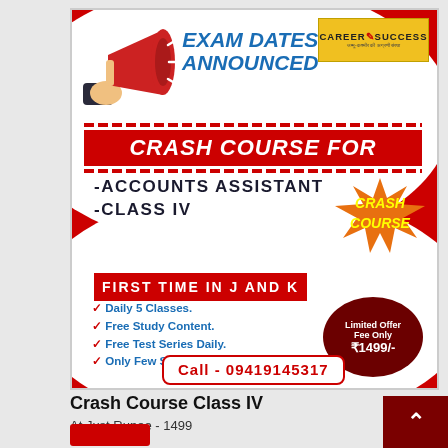[Figure (infographic): Advertisement for Crash Course for Accounts Assistant and Class IV, Career Success institute. Features megaphone graphic, red banner, bullet points of features, limited offer price of Rs 1499, contact number 09419145317, text FIRST TIME IN J AND K.]
Crash Course Class IV
At Just Rupee - 1499